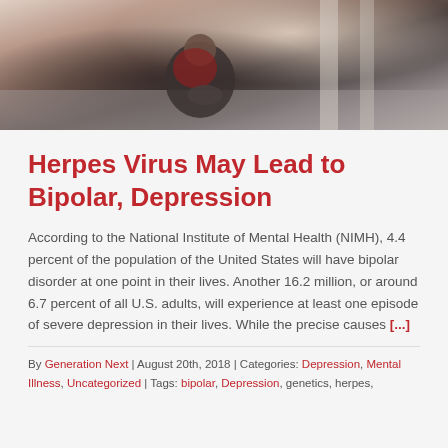[Figure (photo): Person sitting on floor hugging knees in a dark/moody setting, suggesting depression or distress]
Herpes Virus May Lead to Bipolar, Depression
According to the National Institute of Mental Health (NIMH), 4.4 percent of the population of the United States will have bipolar disorder at one point in their lives. Another 16.2 million, or around 6.7 percent of all U.S. adults, will experience at least one episode of severe depression in their lives. While the precise causes [...]
By Generation Next | August 20th, 2018 | Categories: Depression, Mental Illness, Uncategorized | Tags: bipolar, Depression, genetics, herpes,